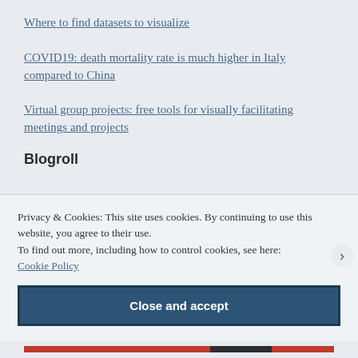Where to find datasets to visualize
COVID19: death mortality rate is much higher in Italy compared to China
Virtual group projects: free tools for visually facilitating meetings and projects
Blogroll
Privacy & Cookies: This site uses cookies. By continuing to use this website, you agree to their use.
To find out more, including how to control cookies, see here: Cookie Policy
Close and accept